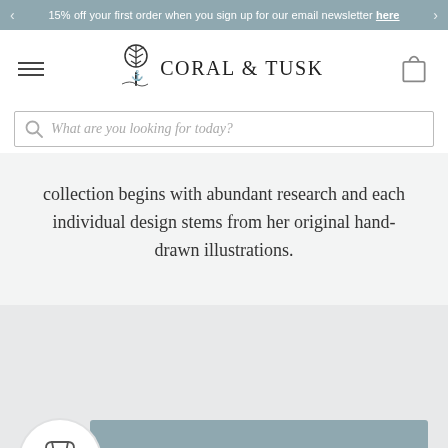15% off your first order when you sign up for our email newsletter here
[Figure (logo): Coral & Tusk logo with tree and bird illustration]
[Figure (other): Search bar with placeholder text: What are you looking for today?]
collection begins with abundant research and each individual design stems from her original hand-drawn illustrations.
GET 15% OFF